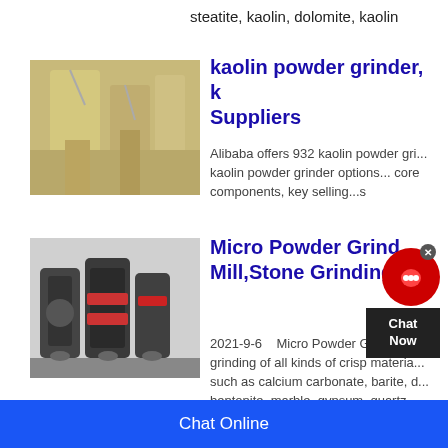steatite, kaolin, dolomite, kaolin
[Figure (photo): Industrial powder grinding facility interior with silos and machinery]
kaolin powder grinder, k... Suppliers
Alibaba offers 932 kaolin powder gr... kaolin powder grinder options... core components, key selling...s
[Figure (photo): Industrial micro powder grinding mills, dark grey machinery with red accents]
Micro Powder Grind... Mill,Stone Grinding
2021-9-6   Micro Powder Grinding M... grinding of all kinds of crisp materia... such as calcium carbonate, barite, d... bentonite, marble, gypsum, quartz, ... mud, mica, refractory material, glas...
Mill...
Chat Online